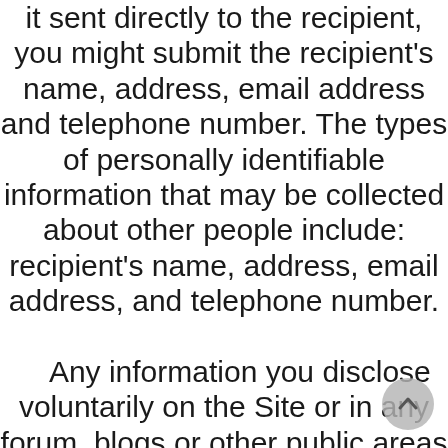it sent directly to the recipient, you might submit the recipient's name, address, email address and telephone number. The types of personally identifiable information that may be collected about other people include: recipient's name, address, email address, and telephone number. Any information you disclose voluntarily on the Site or in any forum, blogs or other public areas that we may develop in the future becomes public information